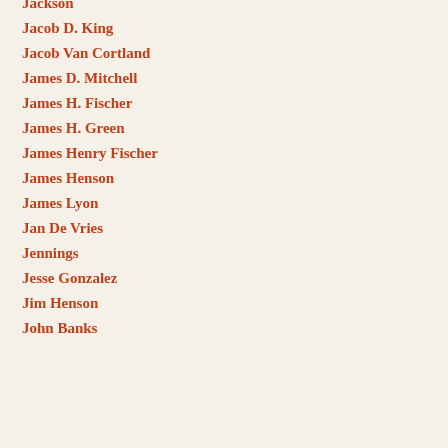Jackson
Jacob D. King
Jacob Van Cortland
James D. Mitchell
James H. Fischer
James H. Green
James Henry Fischer
James Henson
James Lyon
Jan De Vries
Jennings
Jesse Gonzalez
Jim Henson
John Banks